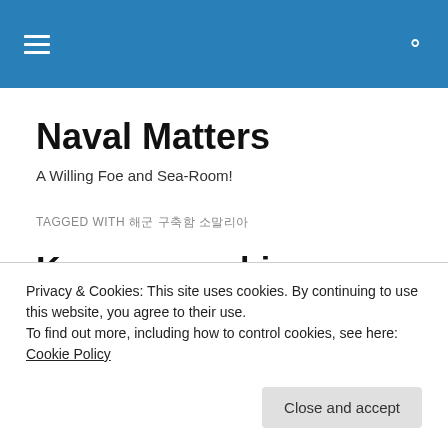Naval Matters — site header navigation bar
Naval Matters
A Willing Foe and Sea-Room!
TAGGED WITH 해군 구축함 소말리아
Korean warship rescues mariners in Gulf of Aden
Privacy & Cookies: This site uses cookies. By continuing to use this website, you agree to their use.
To find out more, including how to control cookies, see here: Cookie Policy
Close and accept